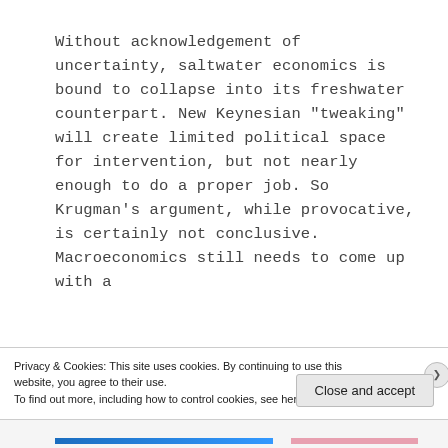Without acknowledgement of uncertainty, saltwater economics is bound to collapse into its freshwater counterpart. New Keynesian “tweaking” will create limited political space for intervention, but not nearly enough to do a proper job. So Krugman’s argument, while provocative, is certainly not conclusive. Macroeconomics still needs to come up with a
Privacy & Cookies: This site uses cookies. By continuing to use this website, you agree to their use.
To find out more, including how to control cookies, see here: Cookie Policy
Close and accept